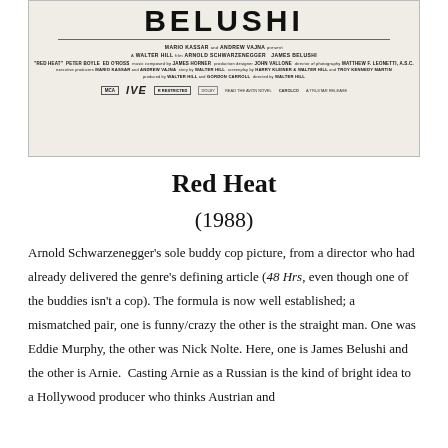[Figure (photo): Movie poster bottom portion for Red Heat showing the title BELUSHI in large bold letters, credits including Mario Kassar, Andrew Vajna, Arnold Schwarzenegger, James Belushi, Walter Hill, and logos for MCA, IVE, R Restricted rating, and Carolco/Tri-Star release.]
Red Heat
(1988)
Arnold Schwarzenegger’s sole buddy cop picture, from a director who had already delivered the genre’s defining article (48 Hrs, even though one of the buddies isn’t a cop). The formula is now well established; a mismatched pair, one is funny/crazy the other is the straight man. One was Eddie Murphy, the other was Nick Nolte. Here, one is James Belushi and the other is Arnie.  Casting Arnie as a Russian is the kind of bright idea to a Hollywood producer who thinks Austrian and